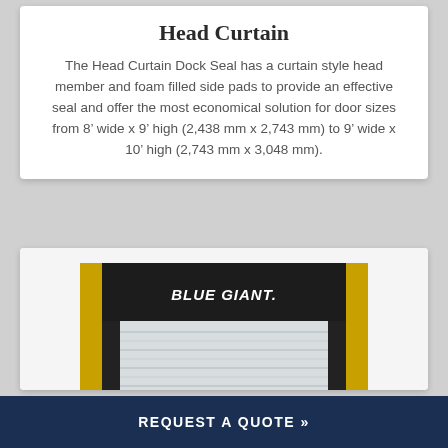Head Curtain
The Head Curtain Dock Seal has a curtain style head member and foam filled side pads to provide an effective seal and offer the most economical solution for door sizes from 8’ wide x 9’ high (2,438 mm x 2,743 mm) to 9’ wide x 10’ high (2,743 mm x 3,048 mm).
[Figure (photo): Photo of a Blue Giant head curtain dock seal installed on a door, showing black frame with yellow side strips and 'BLUE GIANT.' branding, with a white/silver rollup door visible in the center.]
REQUEST A QUOTE »